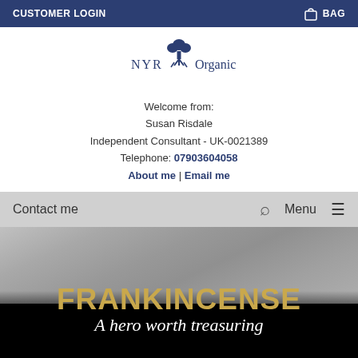CUSTOMER LOGIN  BAG
[Figure (logo): NYR Organic tree logo with text]
Welcome from:
Susan Risdale
Independent Consultant - UK-0021389
Telephone: 07903604058
About me | Email me
Contact me    Menu
[Figure (photo): Hero banner with grey fabric background, gold FRANKINCENSE title text, white script subtitle 'A hero worth treasuring', black lower half]
PROJECT FRANKINCENSE -